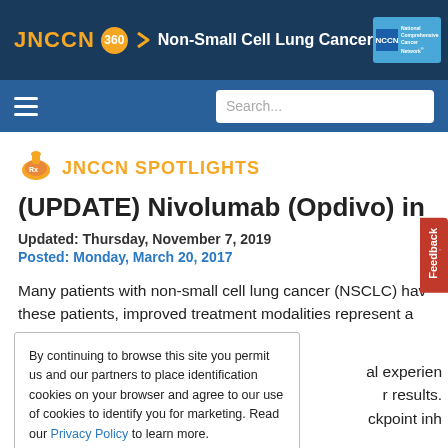JNCCN 360 Non-Small Cell Lung Cancer | NCCN National Comprehensive Cancer Network
[Figure (screenshot): Navigation bar with hamburger menu icon and search box]
[Figure (logo): Rx mortar and pestle icon for JNCCN Spotlights]
JNCCN SPOTLIGHTS
(UPDATE) Nivolumab (Opdivo) in
Updated: Thursday, November 7, 2019
Posted: Monday, March 20, 2017
Many patients with non-small cell lung cancer (NSCLC) have these patients, improved treatment modalities represent a al experien r results. ckpoint inh
By continuing to browse this site you permit us and our partners to place identification cookies on your browser and agree to our use of cookies to identify you for marketing. Read our Privacy Policy to learn more.